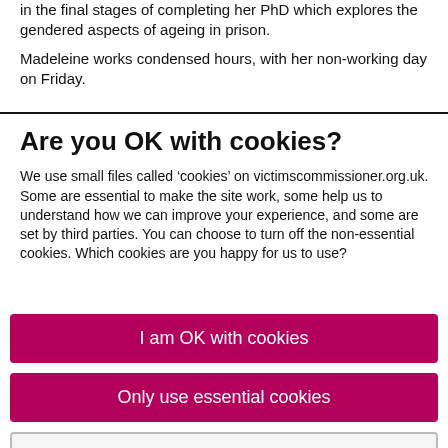in the final stages of completing her PhD which explores the gendered aspects of ageing in prison.
Madeleine works condensed hours, with her non-working day on Friday.
Are you OK with cookies?
We use small files called ‘cookies’ on victimscommissioner.org.uk. Some are essential to make the site work, some help us to understand how we can improve your experience, and some are set by third parties. You can choose to turn off the non-essential cookies. Which cookies are you happy for us to use?
I am OK with cookies
Only use essential cookies
Choose which cookies we use ›